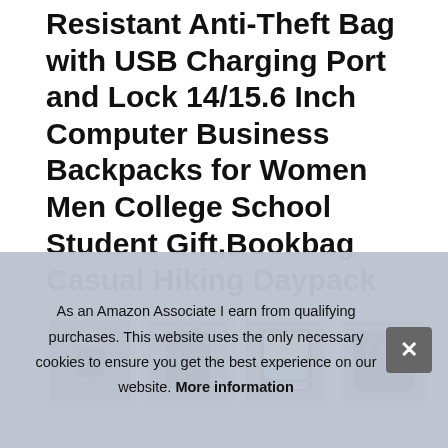Resistant Anti-Theft Bag with USB Charging Port and Lock 14/15.6 Inch Computer Business Backpacks for Women Men College School Student Gift,Bookbag Casual Hiking Daypack
#ad
[Figure (photo): Four product photos of a black backpack showing different angles and features]
As an Amazon Associate I earn from qualifying purchases. This website uses the only necessary cookies to ensure you get the best experience on our website. More information